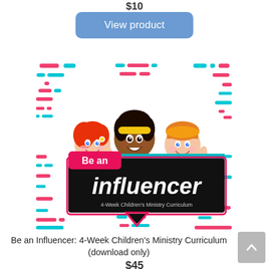$10
View product
[Figure (illustration): Cartoon illustration of three smiling children (one with red hair, one with dark hair and yellow headband, one with an orange cap) peeking over a black speech-bubble banner that reads 'Be an influencer – 4-Week Children's Ministry Curriculum', surrounded by pink and cyan decorative dashes suggesting a TikTok-style aesthetic.]
Be an Influencer: 4-Week Children's Ministry Curriculum (download only)
$45